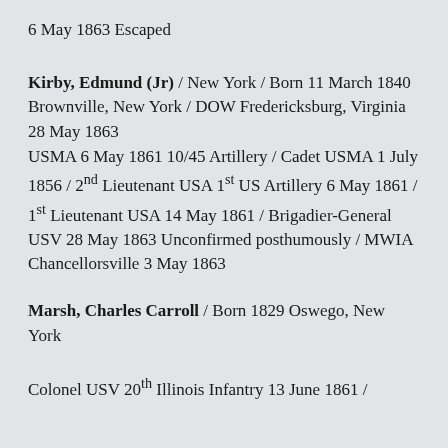6 May 1863 Escaped
Kirby, Edmund (Jr) / New York / Born 11 March 1840 Brownville, New York / DOW Fredericksburg, Virginia 28 May 1863
USMA 6 May 1861 10/45 Artillery / Cadet USMA 1 July 1856 / 2nd Lieutenant USA 1st US Artillery 6 May 1861 / 1st Lieutenant USA 14 May 1861 / Brigadier-General USV 28 May 1863 Unconfirmed posthumously / MWIA Chancellorsville 3 May 1863
Marsh, Charles Carroll / Born 1829 Oswego, New York
Colonel USV 20th Illinois Infantry 13 June 1861 /